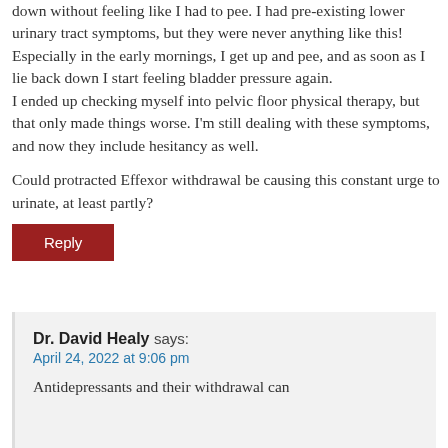down without feeling like I had to pee. I had pre-existing lower urinary tract symptoms, but they were never anything like this! Especially in the early mornings, I get up and pee, and as soon as I lie back down I start feeling bladder pressure again.
I ended up checking myself into pelvic floor physical therapy, but that only made things worse. I'm still dealing with these symptoms, and now they include hesitancy as well.
Could protracted Effexor withdrawal be causing this constant urge to urinate, at least partly?
Reply
Dr. David Healy says:
April 24, 2022 at 9:06 pm
Antidepressants and their withdrawal can